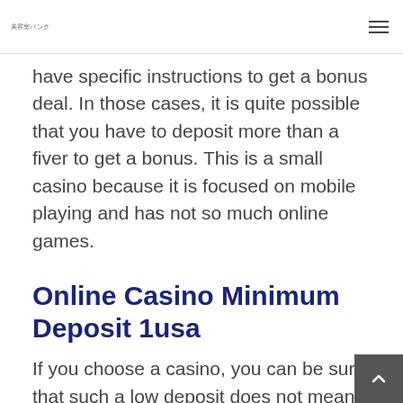美容室バンク
have specific instructions to get a bonus deal. In those cases, it is quite possible that you have to deposit more than a fiver to get a bonus. This is a small casino because it is focused on mobile playing and has not so much online games.
Online Casino Minimum Deposit 1usa
If you choose a casino, you can be sure that such a low deposit does not mean